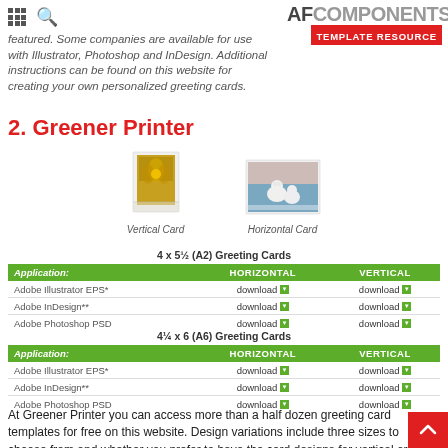AFCOMPONENTS TEMPLATE RESOURCE
this website for creating your own personalized greeting cards.
2. Greener Printer
[Figure (illustration): Two greeting card images: a Vertical Card showing a yellow flower design and a Horizontal Card showing polar bears]
Vertical Card    Horizontal Card
| Application: | HORIZONTAL | VERTICAL |
| --- | --- | --- |
| Adobe Illustrator EPS* | download | download |
| Adobe InDesign** | download | download |
| Adobe Photoshop PSD | download | download |
| Application: | HORIZONTAL | VERTICAL |
| --- | --- | --- |
| Adobe Illustrator EPS* | download | download |
| Adobe InDesign** | download | download |
| Adobe Photoshop PSD | download | download |
At Greener Printer you can access more than a half dozen greeting card templates for free on this website. Design variations include three sizes to choose from and whether you prefer to have the card designs for vertical or horizontal use. Templates are available for use